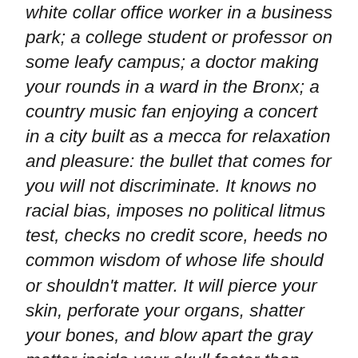white collar office worker in a business park; a college student or professor on some leafy campus; a doctor making your rounds in a ward in the Bronx; a country music fan enjoying a concert in a city built as a mecca for relaxation and pleasure: the bullet that comes for you will not discriminate. It knows no racial bias, imposes no political litmus test, checks no credit score, heeds no common wisdom of whose life should or shouldn't matter. It will pierce your skin, perforate your organs, shatter your bones, and blow apart the gray matter inside your skull faster than your brain tissue can tear. And then, after the token thoughts and prayers, nothing. No revolutionary legislation or sudden sea change in cultural attitudes will mark your passing. The bloody cruelty of your murder will be matched only by the sanguine absence of any substantive national response. Our democracy is riven by inequality in so many ways, but in this domain, and